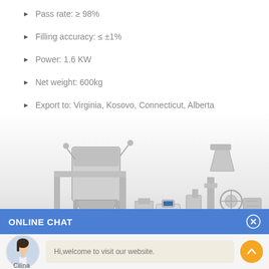Pass rate: ≥ 98%
Filling accuracy: ≤ ±1%
Power: 1.6 KW
Net weight: 600kg
Export to: Virginia, Kosovo, Connecticut, Alberta
[Figure (photo): Industrial filling machine / packaging line with conveyor belt, filling heads, and associated equipment, shown in a studio-style photo with grey gradient background]
ONLINE CHAT
[Figure (photo): Chat widget showing a female avatar labeled 'Cilina' and a message bubble saying 'Hi,welcome to visit our website.' with an orange scroll-up button]